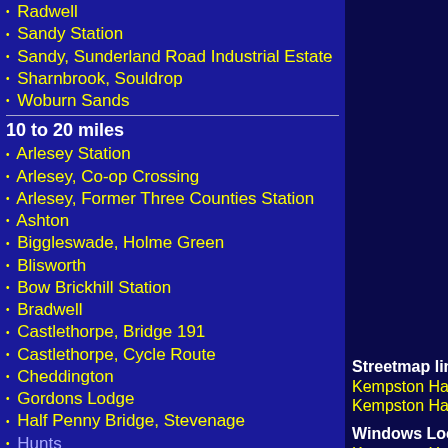Radwell
Sandy Station
Sandy, Sunderland Road Industrial Estate
Sharnbrook, Souldrop
Woburn Sands
10 to 20 miles
Arlesey Station
Arlesey, Co-op Crossing
Arlesey, Former Three Counties Station
Ashton
Biggleswade, Holme Green
Blisworth
Bow Brickhill Station
Bradwell
Castlethorpe, Bridge 191
Castlethorpe, Cycle Route
Cheddington
Gordons Lodge
Half Penny Bridge, Stevenage
Streetmap links
Kempston Hardwick general view map
Kempston Hardwick close up map
Windows Local Live Link - image quality may var
Kempston Hardwick